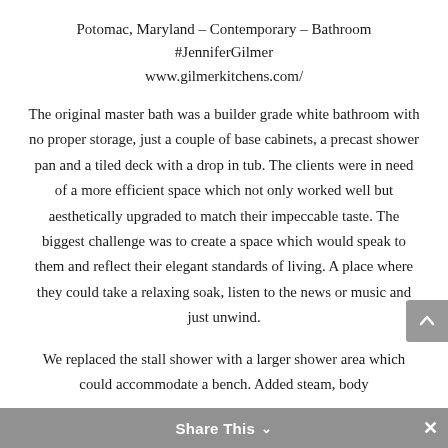Potomac, Maryland – Contemporary – Bathroom #JenniferGilmer www.gilmerkitchens.com/
The original master bath was a builder grade white bathroom with no proper storage, just a couple of base cabinets, a precast shower pan and a tiled deck with a drop in tub. The clients were in need of a more efficient space which not only worked well but aesthetically upgraded to match their impeccable taste. The biggest challenge was to create a space which would speak to them and reflect their elegant standards of living. A place where they could take a relaxing soak, listen to the news or music and just unwind.
We replaced the stall shower with a larger shower area which could accommodate a bench. Added steam, body